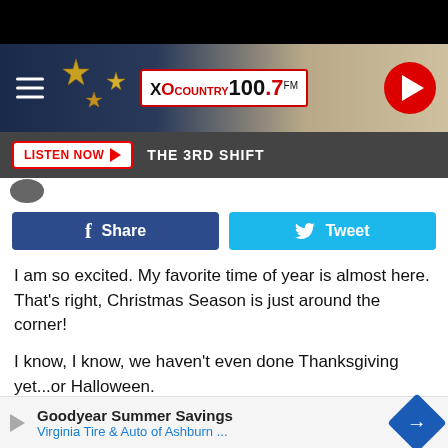[Figure (screenshot): Black top bar]
[Figure (logo): XO Country 100.7 FM radio station header banner with hamburger menu, star decorations, logo, and red play button]
LISTEN NOW ▶  THE 3RD SHIFT
[Figure (infographic): Facebook Share and Twitter Tweet buttons]
I am so excited.  My favorite time of year is almost here. That's right, Christmas Season is just around the corner!
I know, I know, we haven't even done Thanksgiving yet...or Halloween.
It doesn't matter, in the House of Derek, Christmas decorations go up November 1st. Since I was a little boy, Christr... sic, the de... ial
[Figure (infographic): Goodyear Summer Savings advertisement banner - Virginia Tire & Auto of Ashburn ...]